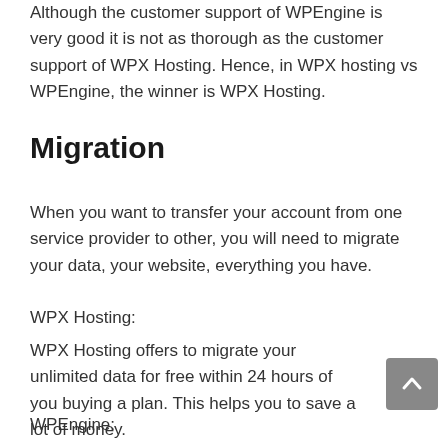Although the customer support of WPEngine is very good it is not as thorough as the customer support of WPX Hosting. Hence, in WPX hosting vs WPEngine, the winner is WPX Hosting.
Migration
When you want to transfer your account from one service provider to other, you will need to migrate your data, your website, everything you have.
WPX Hosting:
WPX Hosting offers to migrate your unlimited data for free within 24 hours of you buying a plan. This helps you to save a lot of money.
WPEngine: